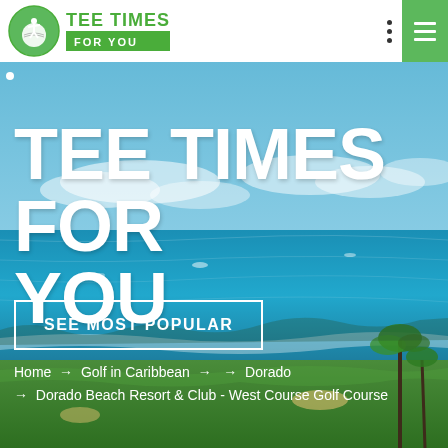[Figure (logo): Tee Times For You logo with green golf ball circle and green text]
[Figure (photo): Aerial/coastal view of Caribbean golf course with turquoise ocean, palm trees, and green fairways]
TEE TIMES FOR YOU
SEE MOST POPULAR
Home → Golf in Caribbean → → Dorado → Dorado Beach Resort & Club - West Course Golf Course